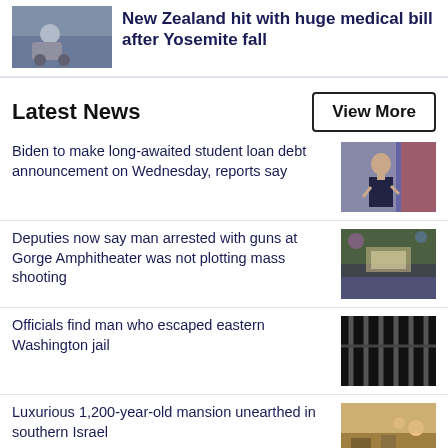[Figure (photo): Top story thumbnail: person in wheelchair outdoors]
New Zealand hit with huge medical bill after Yosemite fall
Latest News
View More
Biden to make long-awaited student loan debt announcement on Wednesday, reports say
[Figure (photo): Biden speaking at podium with American flag behind]
Deputies now say man arrested with guns at Gorge Amphitheater was not plotting mass shooting
[Figure (photo): Gorge Amphitheater concert with crowd]
Officials find man who escaped eastern Washington jail
[Figure (photo): Jail cell bars]
Luxurious 1,200-year-old mansion unearthed in southern Israel
[Figure (photo): Archaeological excavation workers in pit]